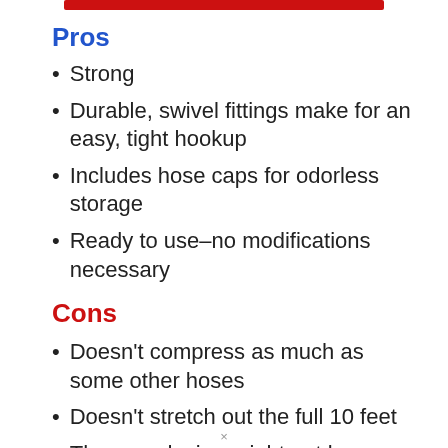Pros
Strong
Durable, swivel fittings make for an easy, tight hookup
Includes hose caps for odorless storage
Ready to use–no modifications necessary
Cons
Doesn't compress as much as some other hoses
Doesn't stretch out the full 10 feet
The new design might not be